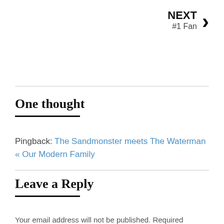NEXT
#1 Fan
One thought
Pingback: The Sandmonster meets The Waterman « Our Modern Family
Leave a Reply
Your email address will not be published. Required